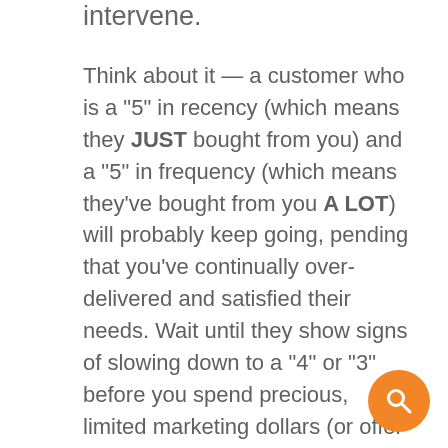intervene.
Think about it — a customer who is a "5" in recency (which means they JUST bought from you) and a "5" in frequency (which means they've bought from you A LOT) will probably keep going, pending that you've continually over-delivered and satisfied their needs. Wait until they show signs of slowing down to a "4" or "3" before you spend precious, limited marketing dollars (or offer unnecessary discounts).